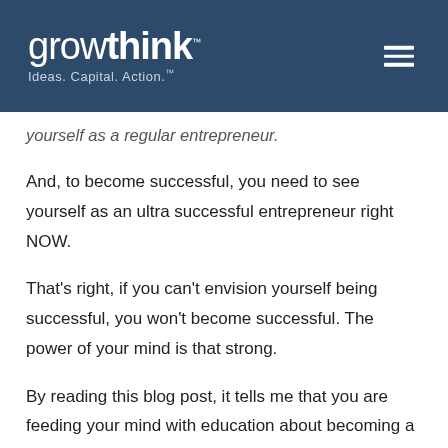growthink — Ideas. Capital. Action.™
yourself as a regular entrepreneur.
And, to become successful, you need to see yourself as an ultra successful entrepreneur right NOW.
That's right, if you can't envision yourself being successful, you won't become successful. The power of your mind is that strong.
By reading this blog post, it tells me that you are feeding your mind with education about becoming a successful entrepreneur. I genuinely commend that. But I want to make sure you're taking it to the next